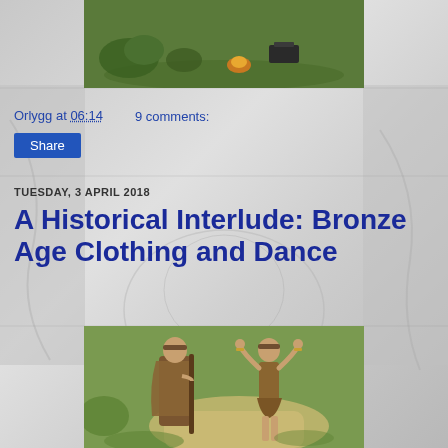[Figure (photo): Top photo showing painted miniature wargaming figures on green grass terrain with scatter terrain pieces]
Orlygg at 06:14   9 comments:
Share
TUESDAY, 3 APRIL 2018
A Historical Interlude: Bronze Age Clothing and Dance
[Figure (photo): Photo of two painted Bronze Age miniature figures on a sandy/grassy path - one male figure in brown cloak with staff, one female dancer figure with arms raised]